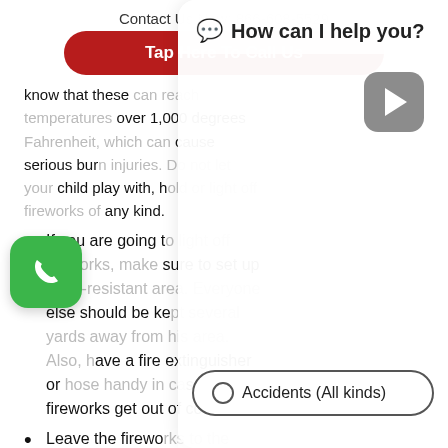Contact Us Now: 866-608-5529
Tap Here To Call Us
know that these can reach temperatures over 1,000 degrees Fahrenheit, which can cause serious burn injuries. Do not let your child play with, hold or light off fireworks of any kind.
If you are going to light off fireworks, make sure to set up a fire-resistant area. Everyone else should be kept several yards away from his area. Also, have a fire extinguisher or hose handy in case fireworks get out of control.
Leave the fireworks to the professionals. Rather than setting off your own fireworks at home, head to professional fireworks shows. While you could still
[Figure (screenshot): Chat widget overlay showing 'How can I help you?' header, a video play button, and an 'Accidents (All kinds)' radio chip option]
[Figure (other): Green phone FAB button]